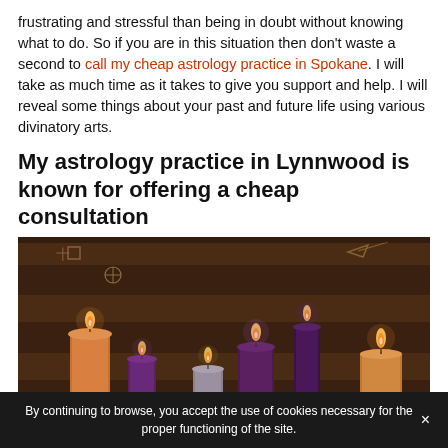frustrating and stressful than being in doubt without knowing what to do. So if you are in this situation then don't waste a second to call my cheap astrology practice in Spokane. I will take as much time as it takes to give you support and help. I will reveal some things about your past and future life using various divinatory arts.
My astrology practice in Lynnwood is known for offering a cheap consultation
[Figure (photo): Photo of five candles of various colors (orange, purple, dark purple, dark, orange) arranged in front of wooden planks with mystical symbols painted on them. The candles are lit and casting warm light.]
By continuing to browse, you accept the use of cookies necessary for the proper functioning of the site.